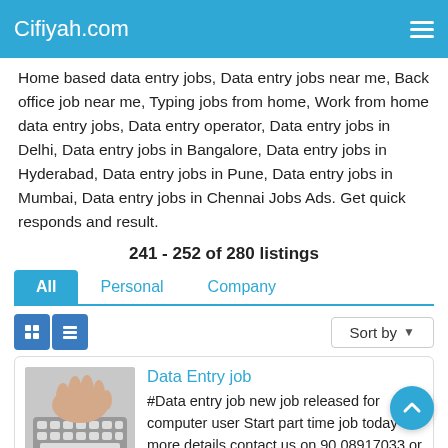Cifiyah.com
Home based data entry jobs, Data entry jobs near me, Back office job near me, Typing jobs from home, Work from home data entry jobs, Data entry operator, Data entry jobs in Delhi, Data entry jobs in Bangalore, Data entry jobs in Hyderabad, Data entry jobs in Pune, Data entry jobs in Mumbai, Data entry jobs in Chennai Jobs Ads. Get quick responds and result.
241 - 252 of 280 listings
All | Personal | Company
[Figure (screenshot): Keyboard with hands typing — thumbnail for Data Entry job listing]
Data Entry job
#Data entry job new job released for computer user Start part time job today for more details contact us on 90,08917033 or message/WHATS APP your email Id to the same number we will send you the complete details within 24hrs regarding this job